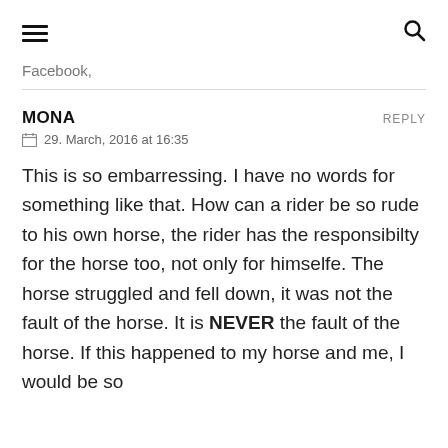☰  🔍
Facebook,
MONA   REPLY
📅 29. March, 2016 at 16:35

This is so embarressing. I have no words for something like that. How can a rider be so rude to his own horse, the rider has the responsibilty for the horse too, not only for himselfe. The horse struggled and fell down, it was not the fault of the horse. It is NEVER the fault of the horse. If this happened to my horse and me, I would be so